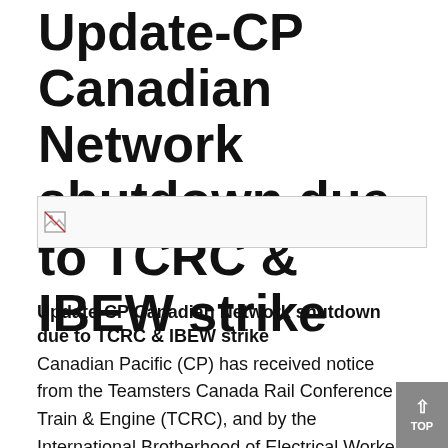Update-CP Canadian Network shutdown due to TCRC & IBEW strike
[Figure (other): Broken/missing image placeholder with small broken image icon]
Update-CP Canadian Network shutdown due to TCRC & IBEW strike
Canadian Pacific (CP) has received notice from the Teamsters Canada Rail Conference – Train & Engine (TCRC), and by the International Brotherhood of Electrical Workers (IBEW) that